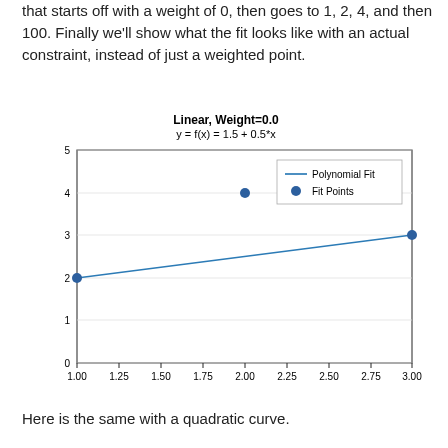that starts off with a weight of 0, then goes to 1, 2, 4, and then 100. Finally we'll show what the fit looks like with an actual constraint, instead of just a weighted point.
[Figure (line-chart): Linear, Weight=0.0
y = f(x) = 1.5 + 0.5*x]
Here is the same with a quadratic curve.